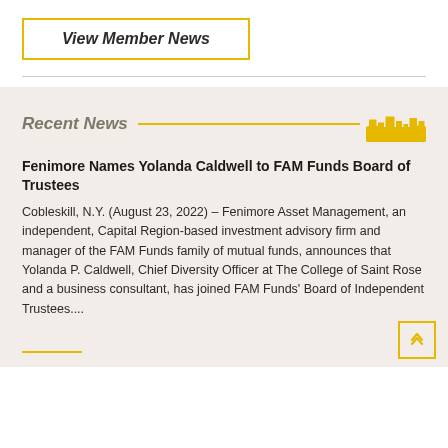View Member News
Recent News
Fenimore Names Yolanda Caldwell to FAM Funds Board of Trustees
Cobleskill, N.Y. (August 23, 2022) – Fenimore Asset Management, an independent, Capital Region-based investment advisory firm and manager of the FAM Funds family of mutual funds, announces that Yolanda P. Caldwell, Chief Diversity Officer at The College of Saint Rose and a business consultant, has joined FAM Funds' Board of Independent Trustees....